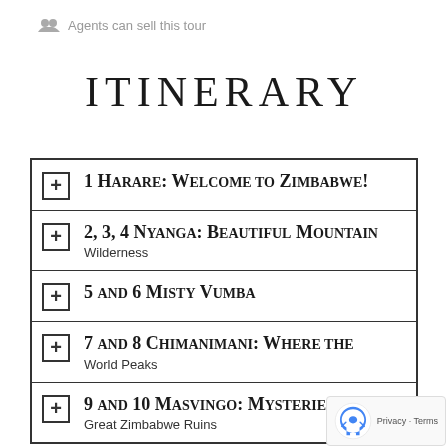Agents can sell this tour
ITINERARY
1 Harare: Welcome to Zimbabwe!
2, 3, 4 Nyanga: Beautiful Mountain Wilderness
5 and 6 Misty Vumba
7 and 8 Chimanimani: Where the World Peaks
9 and 10 Masvingo: Mysteries of the Great Zimbabwe Ruins